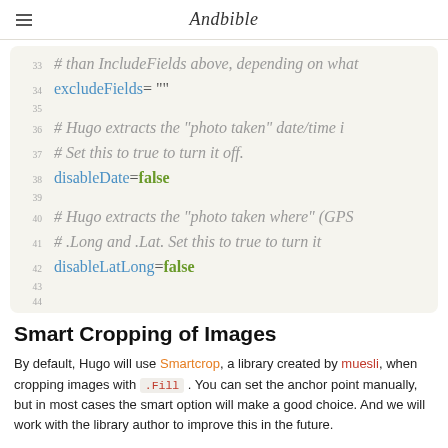Andbible
[Figure (screenshot): Code block showing TOML configuration lines 33-44 with excludeFields, disableDate, and disableLatLong settings]
Smart Cropping of Images
By default, Hugo will use Smartcrop, a library created by muesli, when cropping images with .Fill . You can set the anchor point manually, but in most cases the smart option will make a good choice. And we will work with the library author to improve this in the future.